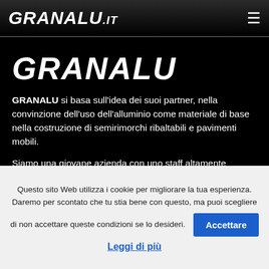GRANALU.it
GRANALU
GRANALU si basa sull'idea dei suoi partner, nella convinzione dell'uso dell'alluminio come materiale di base nella costruzione di semirimorchi ribaltabili e pavimenti mobili.
Siamo una giovane azienda con uno staff altamente qualificato nella
Questo sito Web utilizza i cookie per migliorare la tua esperienza. Daremo per scontato che tu stia bene con questo, ma puoi scegliere di non accettare queste condizioni se lo desideri. Accettare
Leggi di più